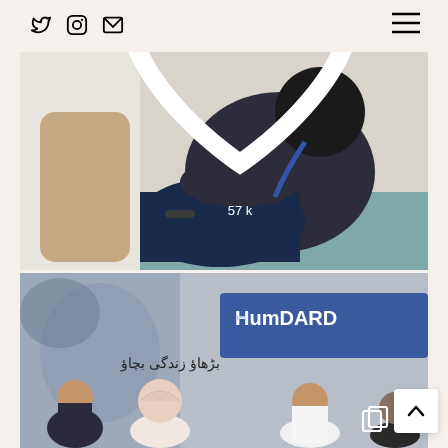Social media page header with Twitter, Instagram, and email icons, and hamburger menu
[Figure (photo): A person in dark clothing sitting hunched against a white wall, wearing jeans. Instagram-style post with a heart (like) icon showing 57k likes.]
[Figure (photo): Group of people at what appears to be a TV show or event with a HUM DARD banner visible in the background, with Urdu text reading 'Barhao Zindagi Bachao'. A copy/album icon overlay is visible.]